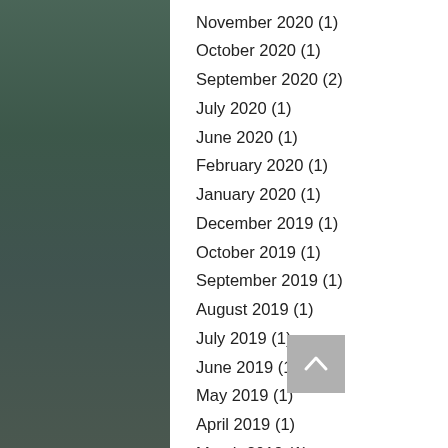November 2020 (1)
October 2020 (1)
September 2020 (2)
July 2020 (1)
June 2020 (1)
February 2020 (1)
January 2020 (1)
December 2019 (1)
October 2019 (1)
September 2019 (1)
August 2019 (1)
July 2019 (1)
June 2019 (1)
May 2019 (1)
April 2019 (1)
March 2019 (1)
January 2019 (1)
December 2018 (1)
November 2018 (1)
September 2018 (1)